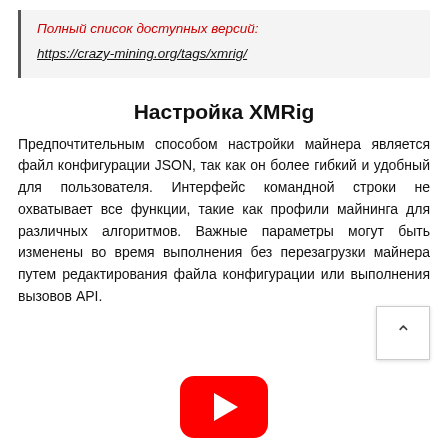Полный список доступных версий:
https://crazy-mining.org/tags/xmrig/
Настройка XMRig
Предпочтительным способом настройки майнера является файл конфигурации JSON, так как он более гибкий и удобный для пользователя. Интерфейс командной строки не охватывает все функции, такие как профили майнинга для различных алгоритмов. Важные параметры могут быть изменены во время выполнения без перезагрузки майнера путем редактирования файла конфигурации или выполнения вызовов API.
[Figure (illustration): YouTube play button icon (red rounded rectangle with white triangle play symbol)]